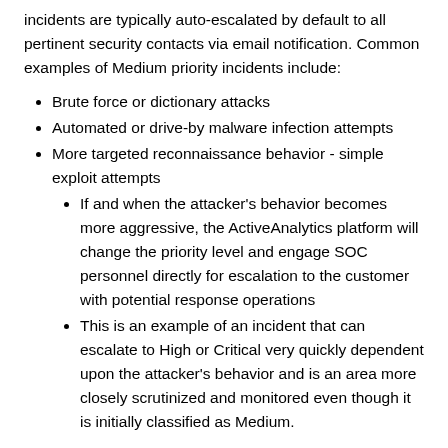incidents are typically auto-escalated by default to all pertinent security contacts via email notification. Common examples of Medium priority incidents include:
Brute force or dictionary attacks
Automated or drive-by malware infection attempts
More targeted reconnaissance behavior - simple exploit attempts
If and when the attacker's behavior becomes more aggressive, the ActiveAnalytics platform will change the priority level and engage SOC personnel directly for escalation to the customer with potential response operations
This is an example of an incident that can escalate to High or Critical very quickly dependent upon the attacker's behavior and is an area more closely scrutinized and monitored even though it is initially classified as Medium.